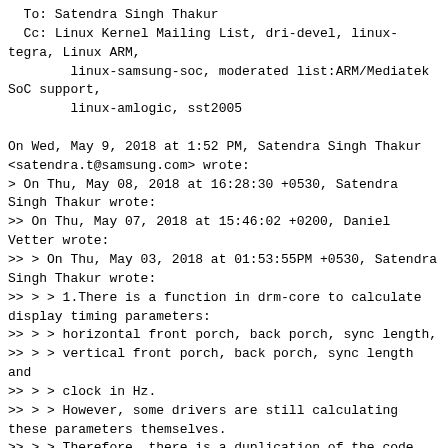To: Satendra Singh Thakur
  Cc: Linux Kernel Mailing List, dri-devel, linux-tegra, Linux ARM,
        linux-samsung-soc, moderated list:ARM/Mediatek SoC support,
        linux-amlogic, sst2005

On Wed, May 9, 2018 at 1:52 PM, Satendra Singh Thakur <satendra.t@samsung.com> wrote:
> On Thu, May 08, 2018 at 16:28:30 +0530, Satendra Singh Thakur wrote:
>> On Thu, May 07, 2018 at 15:46:02 +0200, Daniel Vetter wrote:
>> > On Thu, May 03, 2018 at 01:53:55PM +0530, Satendra Singh Thakur wrote:
>> > > 1.There is a function in drm-core to calculate display timing parameters:
>> > > horizontal front porch, back porch, sync length,
>> > > vertical front porch, back porch, sync length and
>> > > clock in Hz.
>> > > However, some drivers are still calculating these parameters themselves.
>> > > Therefore, there is a duplication of the code.
>> > > This patch series replaces this redundant code with the function
>> > > drm_display_mode_to_videomode.
>> > > This removes nearly 100 redundant lines from the related drivers.
>> > > 2.For some drivers (sun4i) the reverse helper
>> > > drm_display_mode_from_videomode is used.